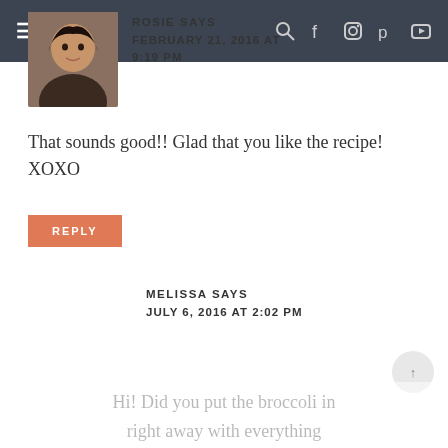Navigation bar with menu, search, Facebook, Instagram, Pinterest, YouTube icons
ROSIE SAYS
FEBRUARY 21, 2016 AT 9:19 PM
That sounds good!! Glad that you like the recipe! XOXO
REPLY
MELISSA SAYS
JULY 6, 2016 AT 2:02 PM
Hi! Did you put the broccoli in right away with everything